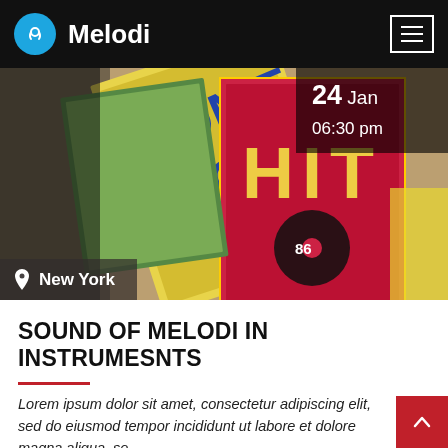Melodi
[Figure (photo): Vinyl record album covers stacked on a wooden surface, including visible text 'DONT STOP' and 'HIT'. Overlay shows date 24 Jan, time 06:30 pm, and location New York.]
SOUND OF MELODI IN INSTRUMESNTS
Lorem ipsum dolor sit amet, consectetur adipiscing elit, sed do eiusmod tempor incididunt ut labore et dolore magna aliqua, se...